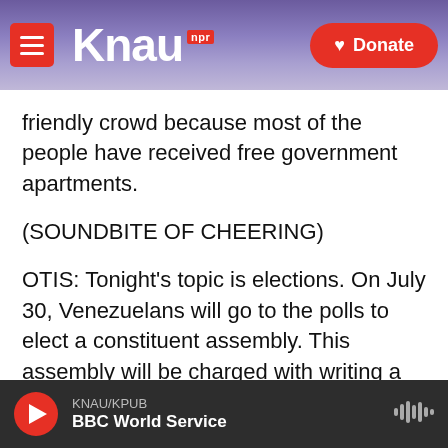KNAU NPR | Donate
friendly crowd because most of the people have received free government apartments.
(SOUNDBITE OF CHEERING)
OTIS: Tonight's topic is elections. On July 30, Venezuelans will go to the polls to elect a constituent assembly. This assembly will be charged with writing a new constitution.
ORTEGA: (Speaking Spanish).
OTIS: Ortega tells the crowd that this new constitution will guarantee the survival of
KNAU/KPUB | BBC World Service